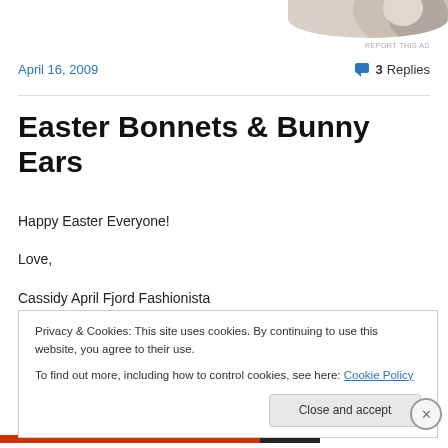[Figure (photo): Partial circular cropped photo at top-right corner of page]
REPORT THIS AD
April 16, 2009
3 Replies
Easter Bonnets & Bunny Ears
Happy Easter Everyone!
Love,
Cassidy April Fjord Fashionista
Privacy & Cookies: This site uses cookies. By continuing to use this website, you agree to their use.
To find out more, including how to control cookies, see here: Cookie Policy
Close and accept
REPORT THIS AD